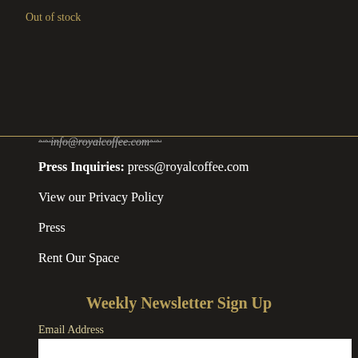Out of stock
Press Inquiries: press@royalcoffee.com
View our Privacy Policy
Press
Rent Our Space
Weekly Newsletter Sign Up
Email Address
SUBSCRIBE